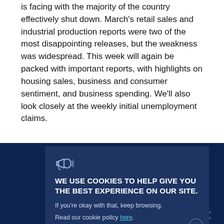is facing with the majority of the country effectively shut down. March's retail sales and industrial production reports were two of the most disappointing releases, but the weakness was widespread. This week will again be packed with important reports, with highlights on housing sales, business and consumer sentiment, and business spending. We'll also look closely at the weekly initial unemployment claims.
Con...
Leave...
[Figure (screenshot): Cookie consent modal overlay with dark navy blue background. Contains a megaphone icon, bold uppercase text 'WE USE COOKIES TO HELP GIVE YOU THE BEST EXPERIENCE ON OUR SITE.', followed by 'If you're okay with that, keep browsing.' and 'Read our cookie policy here.' with 'here' as a hyperlink. A close button (x) appears in the bottom right corner.]
Brad McMillan, CFA®, CAIA, MAI
Managing Principle | Chief Investment Officer